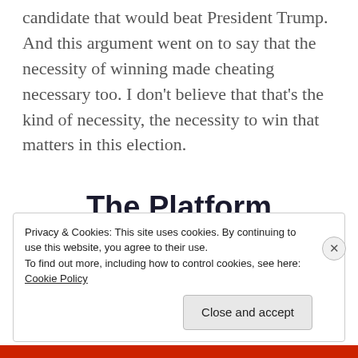candidate that would beat President Trump. And this argument went on to say that the necessity of winning made cheating necessary too. I don't believe that that's the kind of necessity, the necessity to win that matters in this election.
The Platform Where WordPress Works Best
Privacy & Cookies: This site uses cookies. By continuing to use this website, you agree to their use.
To find out more, including how to control cookies, see here: Cookie Policy

Close and accept